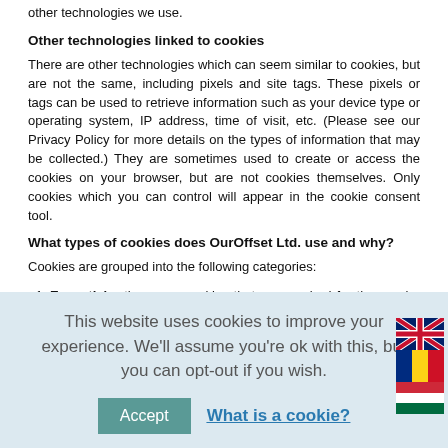other technologies we use.
Other technologies linked to cookies
There are other technologies which can seem similar to cookies, but are not the same, including pixels and site tags. These pixels or tags can be used to retrieve information such as your device type or operating system, IP address, time of visit, etc. (Please see our Privacy Policy for more details on the types of information that may be collected.) They are sometimes used to create or access the cookies on your browser, but are not cookies themselves. Only cookies which you can control will appear in the cookie consent tool.
What types of cookies does OurOffset Ltd. use and why?
Cookies are grouped into the following categories:
Essential – these are cookies that are required for the regular operation of our websites. For example, some cookies allow us to ensure that people can access the subscription pages in the correct region and language for them, access the log-in pages, or carry out fraud detection and security checks (along with other similar things). These are essential for the website to work properly.
Functional – these remember your preferences, and are intended to make your experience on our websites better for you. For example, a functional cookie is used to remember your log-in details securely if you have ticked the "Stay logged-in" box. This makes it possible for users and subscribers to return to our sites without having to log in every time. We also use a functional cookie to remember your cookie preferences from our cookie consent tool.
[Figure (illustration): Three flag icons stacked vertically: UK flag, Romanian flag, Hungarian flag]
This website uses cookies to improve your experience. We'll assume you're ok with this, but you can opt-out if you wish.